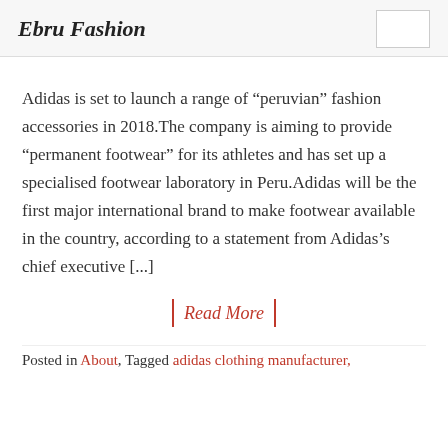Ebru Fashion
Adidas is set to launch a range of “peruvian” fashion accessories in 2018.The company is aiming to provide “permanent footwear” for its athletes and has set up a specialised footwear laboratory in Peru.Adidas will be the first major international brand to make footwear available in the country, according to a statement from Adidas’s chief executive [...]
Read More
Posted in About, Tagged adidas clothing manufacturer,